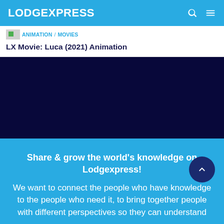LODGEXPRESS
ANIMATION / MOVIES / LX Movie: Luca (2021) Animation
LX Movie: Luca (2021) Animation
[Figure (photo): Dark navy/black featured image placeholder for the movie Luca (2021)]
Share & grow the world's knowledge on Lodgexpress!
We want to connect the people who have knowledge to the people who need it, to bring together people with different perspectives so they can understand